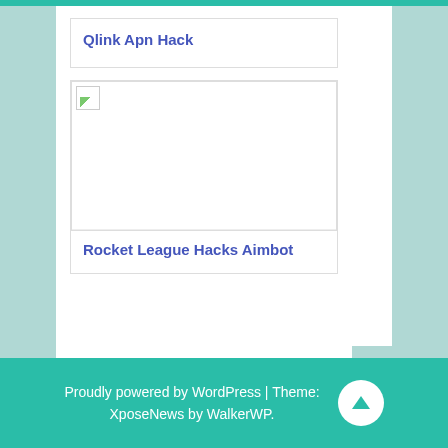Qlink Apn Hack
[Figure (illustration): Broken image placeholder for Rocket League Hacks Aimbot post thumbnail]
Rocket League Hacks Aimbot
Proudly powered by WordPress | Theme: XposeNews by WalkerWP.